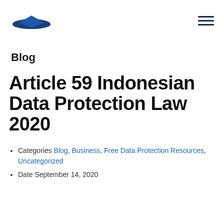[Figure (logo): Dark blue graduation cap logo]
Blog
Article 59 Indonesian Data Protection Law 2020
Categories Blog, Business, Free Data Protection Resources, Uncategorized
Date September 14, 2020